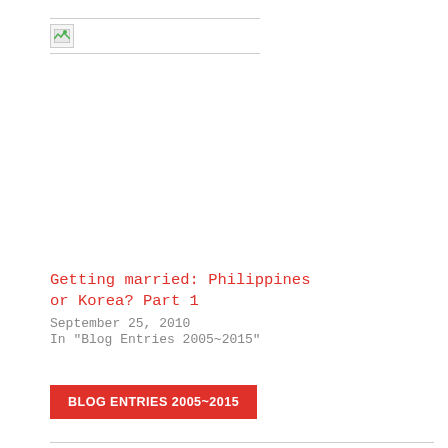[Figure (photo): Broken/missing image placeholder with small broken image icon, bordered top and bottom]
Getting married: Philippines or Korea? Part 1
September 25, 2010
In "Blog Entries 2005~2015"
BLOG ENTRIES 2005~2015
« Moving in Korea
No Smoking in Seoul »
38 comments
[Figure (photo): User avatar – grey circle placeholder]
anna says: